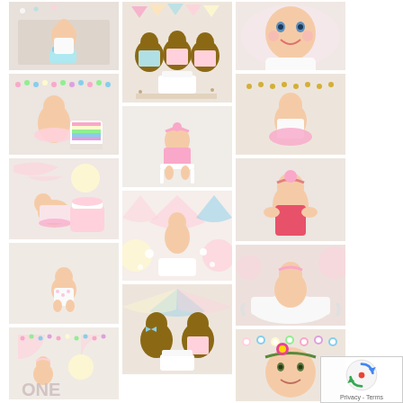[Figure (photo): Baby cake smash photo collage grid with 11 baby photos showing infants and toddlers at cake smash photoshoots with colorful decorations, pastel banners, and birthday cakes]
[Figure (other): reCAPTCHA privacy widget overlay in bottom right corner]